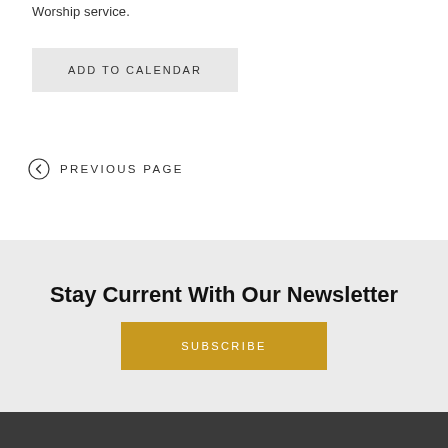Worship service.
ADD TO CALENDAR
PREVIOUS PAGE
Stay Current With Our Newsletter
SUBSCRIBE